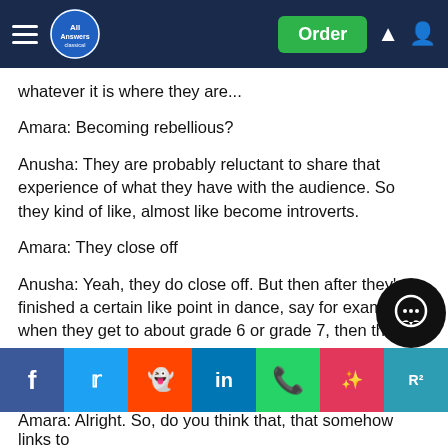All Answers — Order
whatever it is where they are...
Amara: Becoming rebellious?
Anusha: They are probably reluctant to share that experience of what they have with the audience. So they kind of like, almost like become introverts.
Amara: They close off
Anusha: Yeah, they do close off. But then after they've finished a certain like point in dance, say for example when they get to about grade 6 or grade 7, then they start understanding the in-depth of dance and then they, you actually find that there is a sudden leap in, how they perform where you actually see them dance and not just copy thing...  ...s...  ...l
Amara: Alright. So, do you think that, that somehow links to